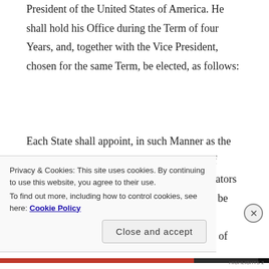President of the United States of America. He shall hold his Office during the Term of four Years, and, together with the Vice President, chosen for the same Term, be elected, as follows:
Each State shall appoint, in such Manner as the Legislature thereof may direct, a Number of Electors, equal to the whole Number of Senators and Representatives to which the State may be entitled in the Congress: but no Senator or Representative, or Person holding an Office of
Privacy & Cookies: This site uses cookies. By continuing to use this website, you agree to their use.
To find out more, including how to control cookies, see here: Cookie Policy